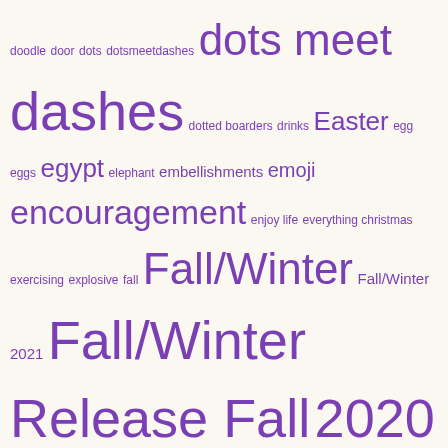[Figure (infographic): Tag cloud with purple words of varying sizes on a cream background, listing craft/scrapbooking related tags from 'doodle' through 'happy', alphabetically ordered by first letter D through H.]